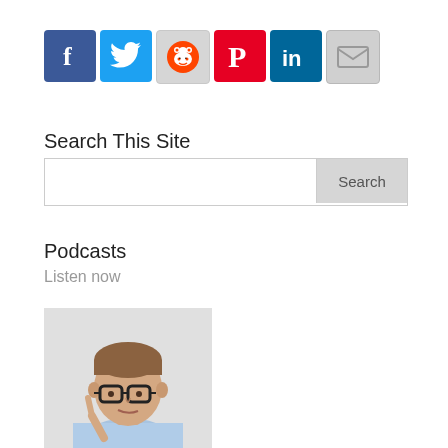[Figure (other): Social media sharing icons: Facebook, Twitter, Reddit, Pinterest, LinkedIn, Email]
Search This Site
[Figure (other): Search input box with Search button]
Podcasts
Listen now
[Figure (photo): Photo of a man with glasses and short brown hair, wearing a blue shirt, pointing upward with one finger and making a thinking expression]